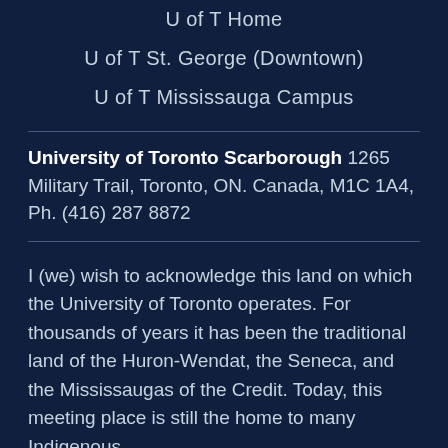U of T Home
U of T St. George (Downtown)
U of T Mississauga Campus
University of Toronto Scarborough 1265 Military Trail, Toronto, ON. Canada, M1C 1A4, Ph. (416) 287 8872
I (we) wish to acknowledge this land on which the University of Toronto operates. For thousands of years it has been the traditional land of the Huron-Wendat, the Seneca, and the Mississaugas of the Credit. Today, this meeting place is still the home to many Indigenous